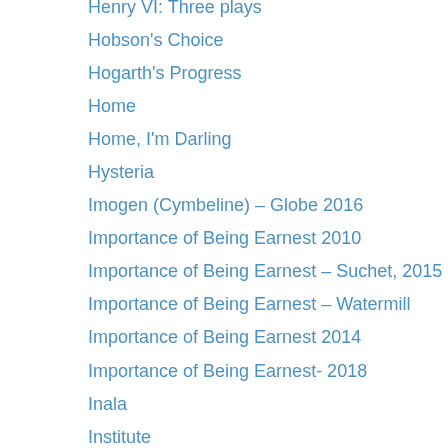Henry VI: Three plays
Hobson's Choice
Hogarth's Progress
Home
Home, I'm Darling
Hysteria
Imogen (Cymbeline) – Globe 2016
Importance of Being Earnest 2010
Importance of Being Earnest – Suchet, 2015
Importance of Being Earnest – Watermill
Importance of Being Earnest 2014
Importance of Being Earnest- 2018
Inala
Institute
Into The Hoods – Remixed
Ivanov
Jeeves and Wooster
Jerusalem
Jerusalem – 2018
Jitney